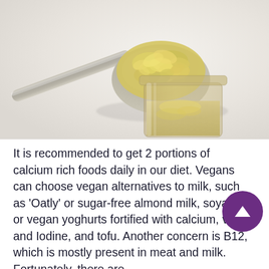[Figure (photo): A spoon heaped with golden nutritional yeast flakes held over a glass jar containing the same flakes, on a light grey/white background.]
It is recommended to get 2 portions of calcium rich foods daily in our diet. Vegans can choose vegan alternatives to milk, such as 'Oatly' or sugar-free almond milk, soya milk or vegan yoghurts fortified with calcium, vit D, and Iodine, and tofu. Another concern is B12, which is mostly present in meat and milk. Fortunately, there are